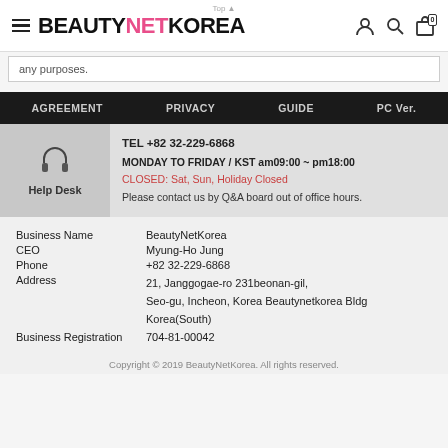BEAUTYNETKOREA
any purposes.
AGREEMENT   PRIVACY   GUIDE   PC Ver.
Help Desk
TEL +82 32-229-6868
MONDAY TO FRIDAY / KST am09:00 ~ pm18:00
CLOSED: Sat, Sun, Holiday Closed
Please contact us by Q&A board out of office hours.
| Field | Value |
| --- | --- |
| Business Name | BeautyNetKorea |
| CEO | Myung-Ho Jung |
| Phone | +82 32-229-6868 |
| Address | 21, Janggogae-ro 231beonan-gil, Seo-gu, Incheon, Korea Beautynetkorea Bldg Korea(South) |
| Business Registration | 704-81-00042 |
Copyright © 2019 BeautyNetKorea. All rights reserved.